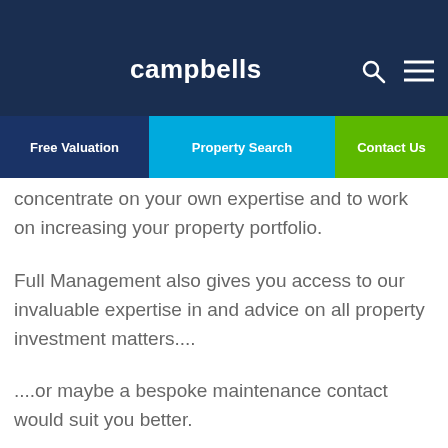campbells
Full Management provides you with the peace of mind and reassurance that your...
concentrate on your own expertise and to work on increasing your property portfolio.
Full Management also gives you access to our invaluable expertise in and advice on all property investment matters....
....or maybe a bespoke maintenance contact would suit you better.